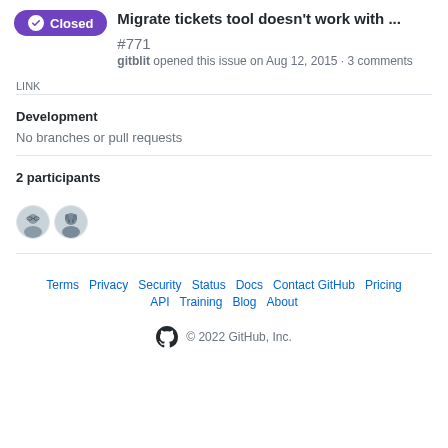Migrate tickets tool doesn't work with ... #771 · gitblit opened this issue on Aug 12, 2015 · 3 comments
LINK
Development
No branches or pull requests
2 participants
[Figure (illustration): Two circular avatar images of participants]
Terms · Privacy · Security · Status · Docs · Contact GitHub · Pricing · API · Training · Blog · About · © 2022 GitHub, Inc.